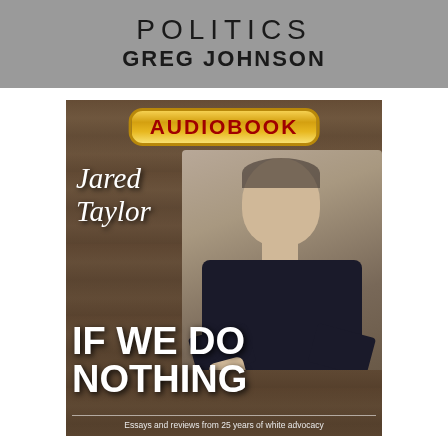POLITICS
GREG JOHNSON
[Figure (illustration): Book cover for audiobook 'If We Do Nothing' by Jared Taylor. Shows a man in a dark shirt against a wooden plank background. Features a gold 'AUDIOBOOK' badge at the top, author name 'Jared Taylor' in white italic text, and large bold title 'IF WE DO NOTHING'. Subtitle reads: 'Essays and reviews from 25 years of white advocacy']
Essays and reviews from 25 years of white advocacy